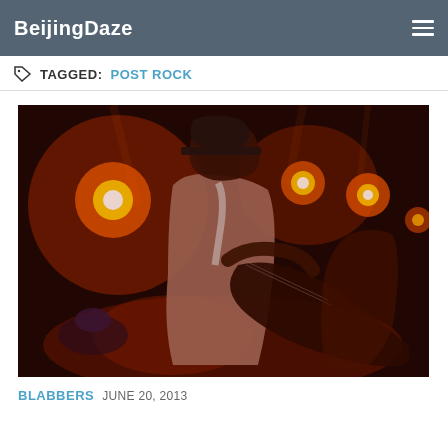BeijingDaze
TAGGED: POST ROCK
[Figure (photo): Concert photo of a guitarist performing on stage under red/orange stage lights. The musician is wearing a hat and playing electric guitar, lit dramatically by overhead stage lighting in warm red tones.]
BLABBERS  JUNE 20, 2013